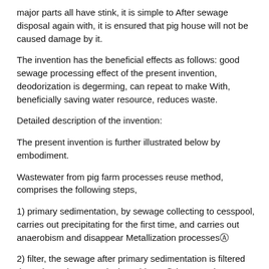major parts all have stink, it is simple to After sewage disposal again with, it is ensured that pig house will not be caused damage by it.
The invention has the beneficial effects as follows: good sewage processing effect of the present invention, deodorization is degerming, can repeat to make With, beneficially saving water resource, reduces waste.
Detailed description of the invention:
The present invention is further illustrated below by embodiment.
Wastewater from pig farm processes reuse method, comprises the following steps,
1) primary sedimentation, by sewage collecting to cesspool, carries out precipitating for the first time, and carries out anaerobism and disappear Metallization processesⓈ
2) filter, the sewage after primary sedimentation is filtered through mesh screen, isolates bigger fixing granule Or weedsⓈ